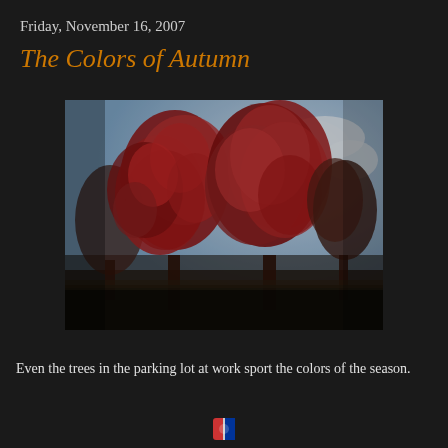Friday, November 16, 2007
The Colors of Autumn
[Figure (photo): Autumn trees with deep red/crimson foliage against a blue sky with white clouds. The trees are in a parking lot. The image has a dark, moody tone with rich red colors dominating the tree canopy.]
Even the trees in the parking lot at work sport the colors of the season.